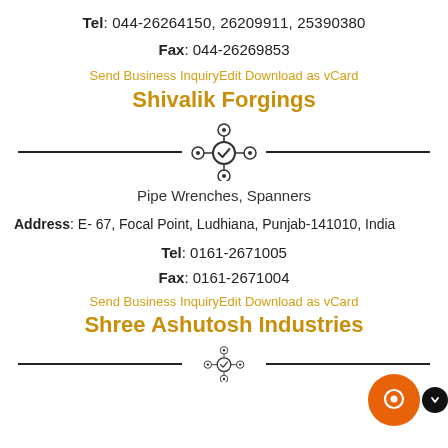Tel: 044-26264150, 26209911, 25390380
Fax: 044-26269853
Send Business InquiryEdit Download as vCard
Shivalik Forgings
[Figure (illustration): Network/hub icon with central checkmark circle connected to four outer gear/node circles, flanked by horizontal rules]
Pipe Wrenches, Spanners
Address: E- 67, Focal Point, Ludhiana, Punjab-141010, India
Tel: 0161-2671005
Fax: 0161-2671004
Send Business InquiryEdit Download as vCard
Shree Ashutosh Industries
[Figure (illustration): Network/hub icon with central checkmark circle connected to outer gear/node circles, flanked by horizontal rules (partial, at bottom)]